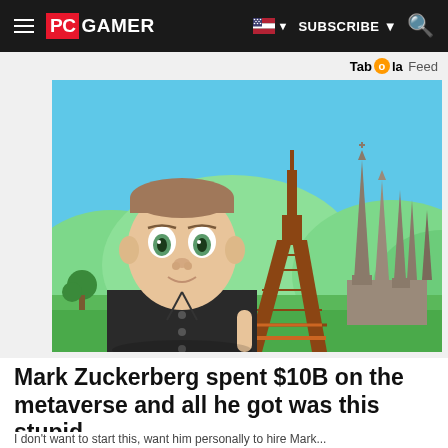PC GAMER | SUBSCRIBE | Search
Taboola Feed
[Figure (illustration): Meta avatar selfie resembling Mark Zuckerberg in virtual metaverse environment with Eiffel Tower and cathedral-like buildings in background]
Mark Zuckerberg spent $10B on the metaverse and all he got was this stupid...
I don't want to start this, want him personally to hire Mark...